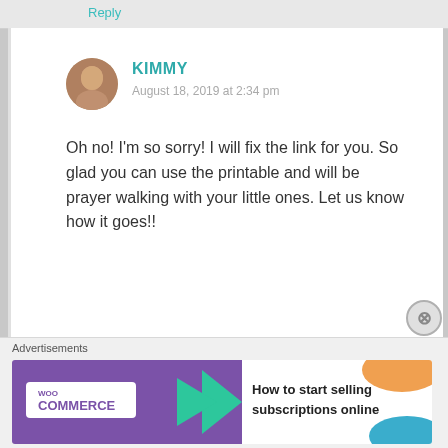Reply
KIMMY
August 18, 2019 at 2:34 pm
Oh no! I'm so sorry! I will fix the link for you. So glad you can use the printable and will be prayer walking with your little ones. Let us know how it goes!!
★ Like
Reply →
[Figure (other): WooCommerce advertisement banner: How to start selling subscriptions online]
Advertisements